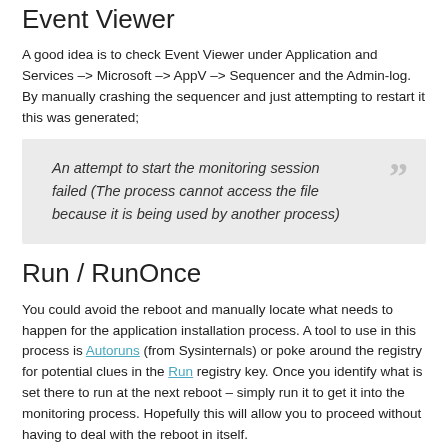Event Viewer
A good idea is to check Event Viewer under Application and Services –> Microsoft –> AppV –> Sequencer and the Admin-log.  By manually crashing the sequencer and just attempting to restart it this was generated;
An attempt to start the monitoring session failed (The process cannot access the file because it is being used by another process)
Run / RunOnce
You could avoid the reboot and manually locate what needs to happen for the application installation process. A tool to use in this process is Autoruns (from Sysinternals) or poke around the registry for potential clues in the Run registry key. Once you identify what is set there to run at the next reboot – simply run it to get it into the monitoring process. Hopefully this will allow you to proceed without having to deal with the reboot in itself.